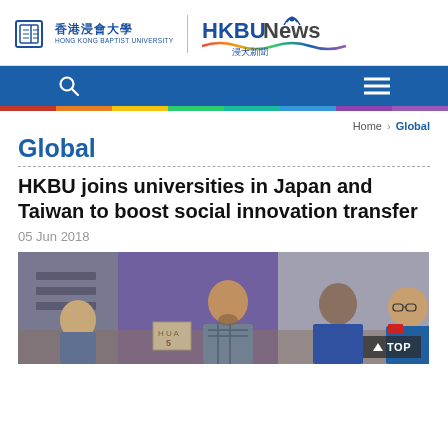香港浸會大學 HONG KONG BAPTIST UNIVERSITY | HKBU News 浸大新聞
Global
Home > Global
HKBU joins universities in Japan and Taiwan to boost social innovation transfer
05 Jun 2018
[Figure (photo): Group of diverse students working together at a table, including a man with a beard in a checkered shirt and an Asian man with glasses on the right]